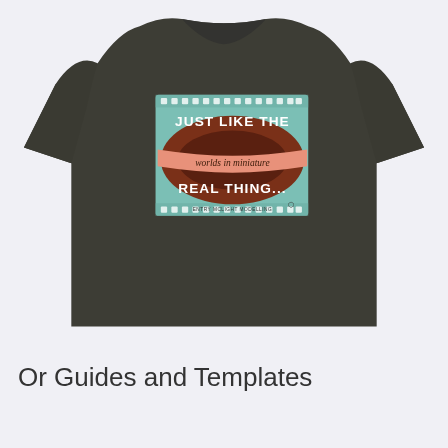[Figure (photo): A dark charcoal grey t-shirt with a graphic design on the chest. The design is on a teal/light blue rectangular background and features a film-strip style oval badge in dark brown/rust colors. The text reads 'JUST LIKE THE REAL THING...' in bold white letters, with 'worlds in miniature' in italic script on a salmon/peach colored ribbon across the middle. At the bottom of the graphic is small text reading 'ENTRY MCLIGHT MODELLING' and a logo mark.]
Or Guides and Templates